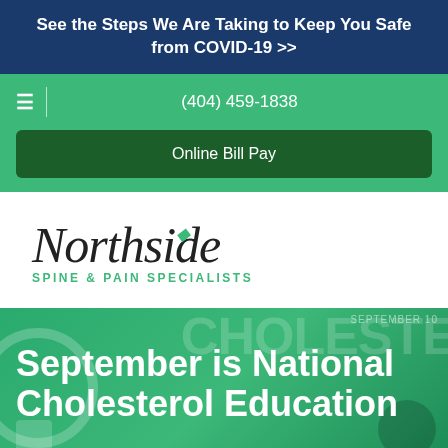See the Steps We Are Taking to Keep You Safe from COVID-19 >>
(404) 459-1838
Online Bill Pay
[Figure (logo): Northside Spine & Pain Specialists logo — italic script 'Northside' with green leaf accent, subtitle 'SPINE & PAIN SPECIALISTS' in teal caps]
September is National Cholesterol Education Month